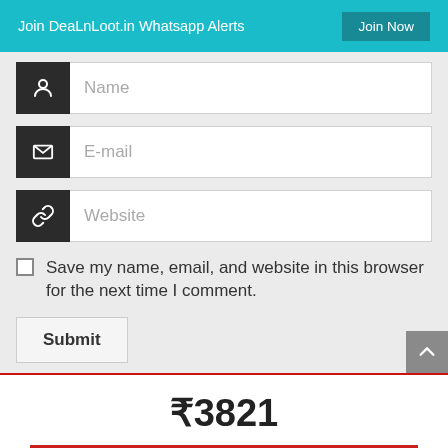Join DeaLnLoot.in Whatsapp Alerts  Join Now
[Figure (screenshot): Web form with Name, E-mail, and Website input fields, each with a dark icon on the left. Below is a checkbox labeled 'Save my name, email, and website in this browser for the next time I comment.' and a Submit button.]
₹3821
BUY IT NOW